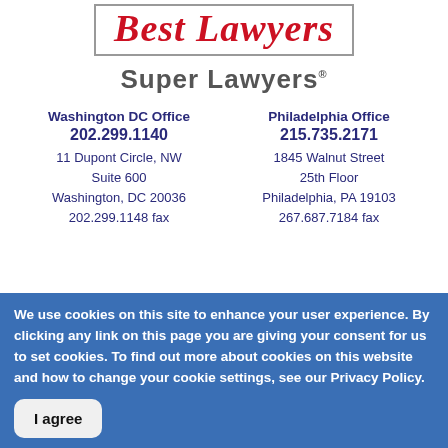[Figure (logo): Best Lawyers logo in red italic serif font inside a bordered box]
Super Lawyers
Washington DC Office
202.299.1140
11 Dupont Circle, NW
Suite 600
Washington, DC 20036
202.299.1148 fax
Philadelphia Office
215.735.2171
1845 Walnut Street
25th Floor
Philadelphia, PA 19103
267.687.7184 fax
We use cookies on this site to enhance your user experience. By clicking any link on this page you are giving your consent for us to set cookies. To find out more about cookies on this website and how to change your cookie settings, see our Privacy Policy.
I agree